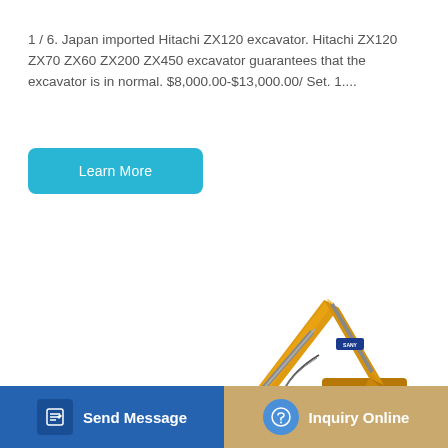1 / 6. Japan imported Hitachi ZX120 excavator. Hitachi ZX120 ZX70 ZX60 ZX200 ZX450 excavator guarantees that the excavator is in normal. $8,000.00-$13,000.00/ Set. 1....
[Figure (other): Blue rounded rectangle button labeled 'Learn More']
[Figure (photo): Yellow SANY tracked excavator on white background, showing boom, arm, bucket and cab]
[Figure (other): Bottom navigation bar with two buttons: 'Send Message' (blue background with edit icon) and 'Inquiry Online' (tan/gold background with headset icon)]